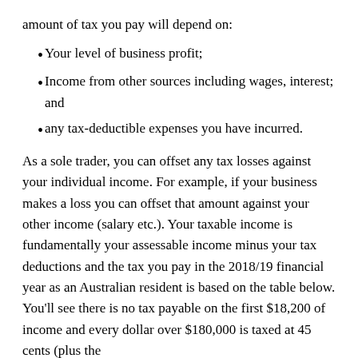amount of tax you pay will depend on:
Your level of business profit;
Income from other sources including wages, interest; and
any tax-deductible expenses you have incurred.
As a sole trader, you can offset any tax losses against your individual income. For example, if your business makes a loss you can offset that amount against your other income (salary etc.). Your taxable income is fundamentally your assessable income minus your tax deductions and the tax you pay in the 2018/19 financial year as an Australian resident is based on the table below. You'll see there is no tax payable on the first $18,200 of income and every dollar over $180,000 is taxed at 45 cents (plus the